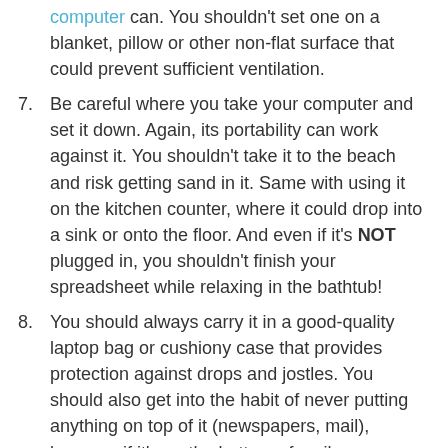(continuation) computer can. You shouldn’t set one on a blanket, pillow or other non-flat surface that could prevent sufficient ventilation.
7. Be careful where you take your computer and set it down. Again, its portability can work against it. You shouldn’t take it to the beach and risk getting sand in it. Same with using it on the kitchen counter, where it could drop into a sink or onto the floor. And even if it’s NOT plugged in, you shouldn’t finish your spreadsheet while relaxing in the bathtub!
8. You should always carry it in a good-quality laptop bag or cushiony case that provides protection against drops and jostles. You should also get into the habit of never putting anything on top of it (newspapers, mail), because if it’s on the bottom of a pile, even heavier items—books, backpacks, etc.—could also get piled on.
9. Set up passwords for access to your laptop (for family members who might also use it). Make sure